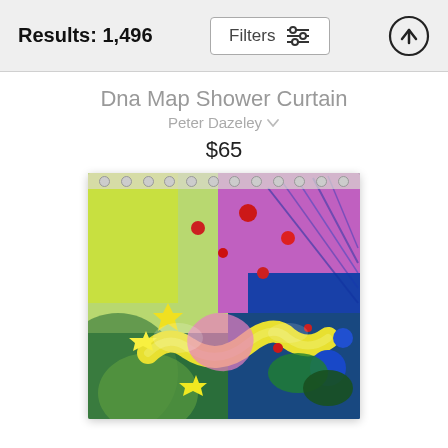Results: 1,496
Dna Map Shower Curtain
Peter Dazeley
$65
[Figure (photo): Colorful abstract DNA map shower curtain artwork showing vibrant swirling colors including yellow, pink, green, blue, and red in a complex artistic pattern, displayed hanging from curtain rings.]